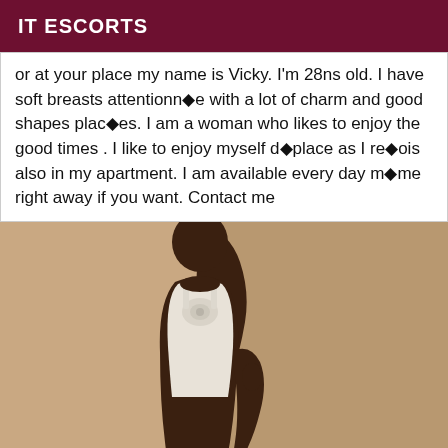IT ESCORTS
or at your place my name is Vicky. I'm 28ns old. I have soft breasts attentionn◆e with a lot of charm and good shapes plac◆es. I am a woman who likes to enjoy the good times . I like to enjoy myself d◆place as I re◆ois also in my apartment. I am available every day m◆me right away if you want. Contact me
[Figure (photo): A person standing in a beige/cream colored top against a light beige background, photographed from approximately the chest/neck area downward.]